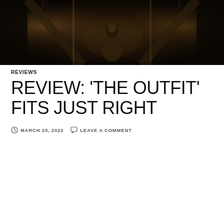[Figure (photo): Dark moody film poster or still image showing a man in period clothing (vest/suit) seated, with atmospheric smoke and dramatic lighting against a dark background]
REVIEWS
REVIEW: ‘THE OUTFIT’ FITS JUST RIGHT
MARCH 20, 2022   LEAVE A COMMENT